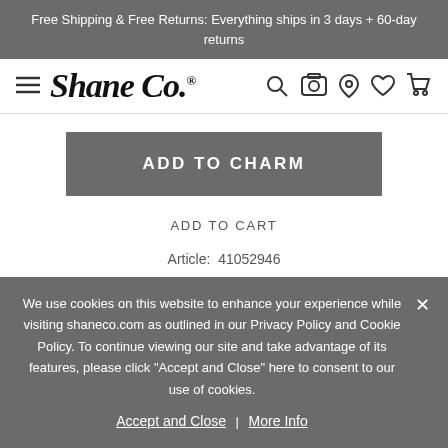Free Shipping & Free Returns: Everything ships in 3 days + 60-day returns
[Figure (logo): Shane Co. logo with hamburger menu and navigation icons (search, camera, location, heart, cart)]
ADD TO CHARM
ADD TO CART
Article:  41052946
We use cookies on this website to enhance your experience while visiting shaneco.com as outlined in our Privacy Policy and Cookie Policy. To continue viewing our site and take advantage of its features, please click "Accept and Close" here to consent to our use of cookies.
Accept and Close | More Info